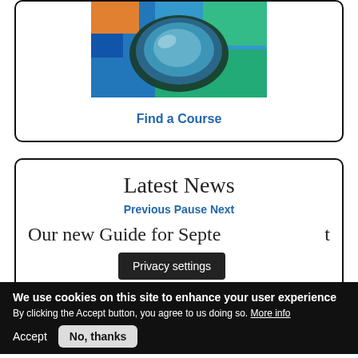[Figure (photo): Colorful photo of glass optics/lenses on a blue and green background, partially cropped at top]
Find a Course
Latest News
Previous Pause Next
Our new Guide for September is out now
Privacy settings
We use cookies on this site to enhance your user experience
By clicking the Accept button, you agree to us doing so. More info
Accept
No, thanks